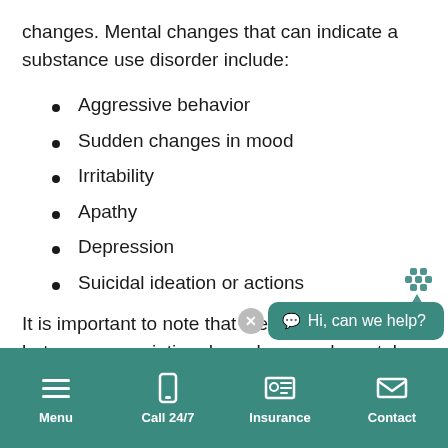changes. Mental changes that can indicate a substance use disorder include:
Aggressive behavior
Sudden changes in mood
Irritability
Apathy
Depression
Suicidal ideation or actions
It is important to note that the re... between prescription drug abuse and mental
[Figure (screenshot): Chat widget with teal background showing 'Hi, can we help?' message with a decorative icon and close button]
Menu  Call 24/7  Insurance  Contact